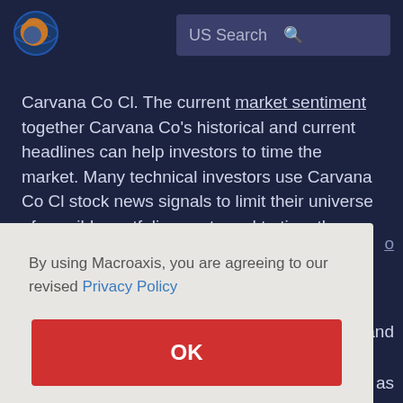[Figure (logo): Macroaxis logo: globe icon with orange and blue colors]
US Search
Carvana Co Cl. The current market sentiment together Carvana Co's historical and current headlines can help investors to time the market. Many technical investors use Carvana Co Cl stock news signals to limit their universe of possible portfolio assets and to time the market correctly.
By using Macroaxis, you are agreeing to our revised Privacy Policy
OK
as well as its diversification or hedging effects on your